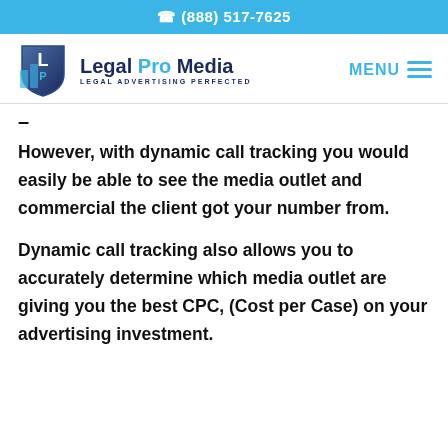(888) 517-7625
[Figure (logo): Legal Pro Media logo with shield icon and tagline 'LEGAL ADVERTISING PERFECTED']
However, with dynamic call tracking you would easily be able to see the media outlet and commercial the client got your number from.
Dynamic call tracking also allows you to accurately determine which media outlet are giving you the best CPC, (Cost per Case) on your advertising investment.